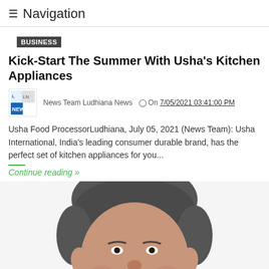≡ Navigation
BUSINESS
Kick-Start The Summer With Usha's Kitchen Appliances
News Team Ludhiana News  ⊙ On 7/05/2021 03:41:00 PM
Usha Food ProcessorLudhiana, July 05, 2021 (News Team): Usha International, India's leading consumer durable brand, has the perfect set of kitchen appliances for you...
Continue reading »
[Figure (photo): Headshot photo of a smiling middle-aged man with short grey hair and brown skin, cropped at the top of the page's lower half]